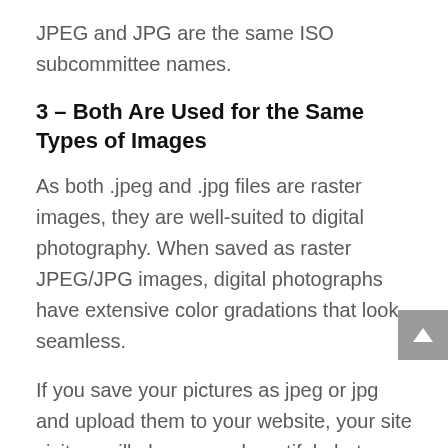JPEG and JPG are the same ISO subcommittee names.
3 – Both Are Used for the Same Types of Images
As both .jpeg and .jpg files are raster images, they are well-suited to digital photography. When saved as raster JPEG/JPG images, digital photographs have extensive color gradations that look seamless.
If you save your pictures as jpeg or jpg and upload them to your website, your site visitors will always see beautiful photos.
4 – Both Lose Some Quality When